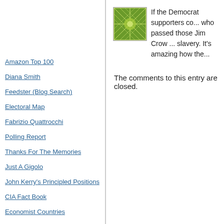[Figure (illustration): Green geometric star/snowflake pattern logo in a square border]
If the Democrat supporters co... who passed those Jim Crow ... slavery. It's amazing how the...
Amazon Top 100
Diana Smith
Feedster (Blog Search)
Electoral Map
Fabrizio Quattrocchi
Polling Report
Thanks For The Memories
Just A Gigolo
John Kerry's Principled Positions
CIA Fact Book
Economist Countries
Google - Site
TypePad
Google
The comments to this entry are closed.